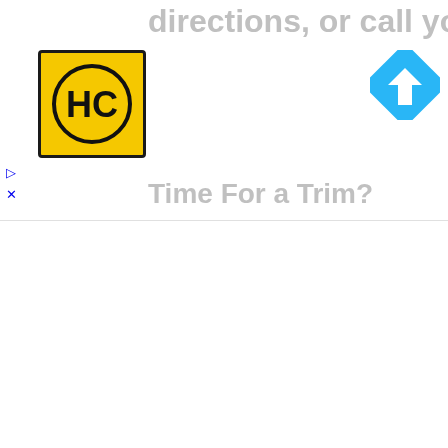[Figure (screenshot): Advertisement banner: HC logo (yellow/black), large grey text 'directions, or call your salon!' and 'Time For a Trim?', blue navigation/direction icon top right, ad close X button and up-arrow collapse button on left side]
Rebecca Merry  March 28, 2011
I'm definately a follower! That loo
Reply
Unknown  March 28, 2011 at 4:2
I just became a follower. I'd love t
Reply
Jagels  March 28, 2011 at 4:30 PM
I'm a follower and i love your wor
Reply
Dana Gaffney  March 28, 2011